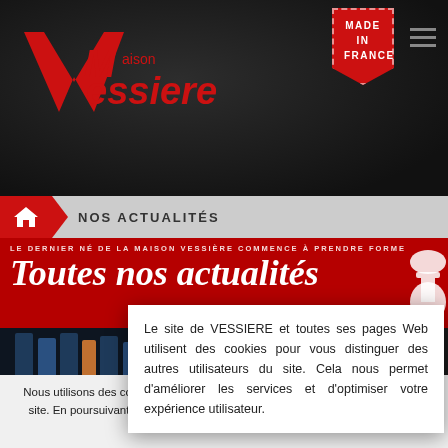[Figure (screenshot): Maison Vessiere logo with red V and text on dark background]
[Figure (illustration): Made in France red banner badge top right]
NOS ACTUALITÉS
Toutes nos actualités
LE DERNIER NÉ DE LA MAISON VESSIÈRE COMMENCE À PRENDRE FORME
Le site de VESSIERE et toutes ses pages Web utilisent des cookies pour vous distinguer des autres utilisateurs du site. Cela nous permet d'améliorer les services et d'optimiser votre expérience utilisateur.
Nous utilisons des cookies pour vous garantir la meilleure expérience sur notre site. En poursuivant votre navigation, nous considérerons que vous acceptez l'utilisation des cookies.